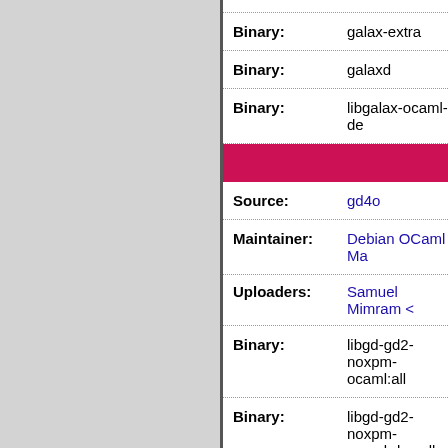| Field | Value |
| --- | --- |
| Binary: | galax-extra |
| Binary: | galaxd |
| Binary: | libgalax-ocaml-de... |
| Source: | gd4o |
| Maintainer: | Debian OCaml Ma... |
| Uploaders: | Samuel Mimram <... |
| Binary: | libgd-gd2-noxpm-ocaml:all |
| Binary: | libgd-gd2-noxpm-ocaml-dev:all |
| Binary: | libgd-ocaml |
| Binary: | libgd-ocaml-dev |